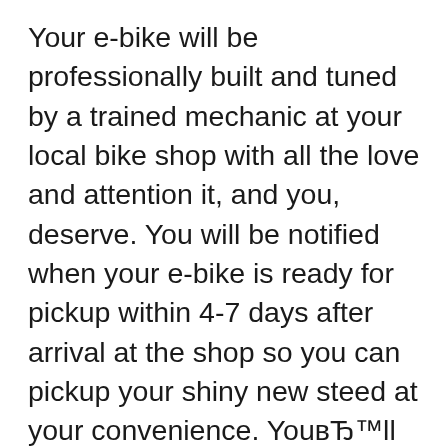Your e-bike will be professionally built and tuned by a trained mechanic at your local bike shop with all the love and attention it, and you, deserve. You will be notified when your e-bike is ready for pickup within 4-7 days after arrival at the shop so you can pickup your shiny new steed at your convenience. YouвЂ™ll receive a walk-through and basic fitting. When picking up your e-bike, you iZip is a brand that focuses on usability. Being built from the ground up, iZip bikes feature some of the best technologies on the market, including Bosch, Shimano, and TranzX. iZip is a part of Accell Group, which also features Raleigh and Haibike. iZip